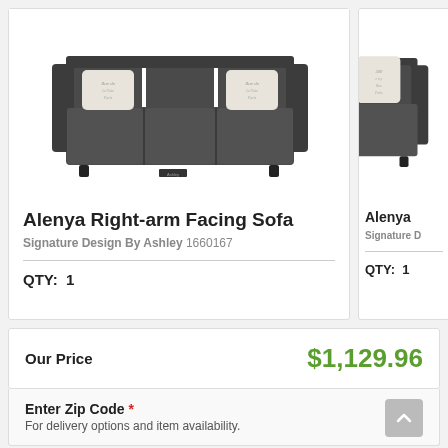[Figure (photo): Dark charcoal three-seat sofa with two decorative script-print throw pillows, Alenya Right-arm Facing Sofa by Ashley Furniture]
Alenya Right-arm Facing Sofa
Signature Design By Ashley 1660167
QTY: 1
[Figure (photo): Partial view of another dark charcoal sofa with decorative throw pillow (Alenya series, partially visible)]
Alenya
Signature D
QTY: 1
Our Price
$1,129.96
Enter Zip Code *
For delivery options and item availability.